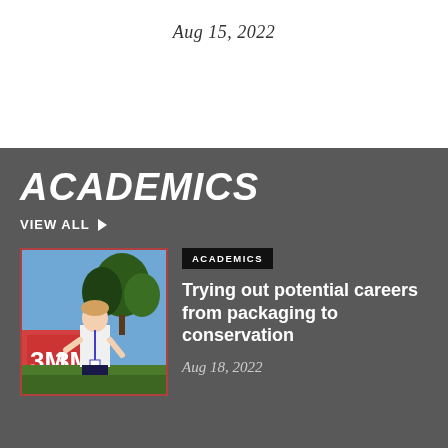Aug 15, 2022
ACADEMICS
VIEW ALL ▶
[Figure (photo): Young woman standing in front of a 3M sign outdoors, with trees and blue sky in the background, making a gesture with her hands.]
ACADEMICS
Trying out potential careers from packaging to conservation
Aug 18, 2022